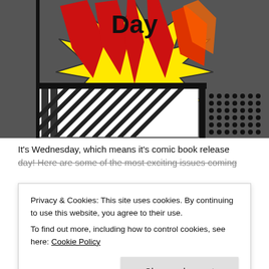[Figure (illustration): Comic book style illustration with a yellow starburst explosion shape containing the word 'Day' in black text, with red and orange flame/spike elements, against a dark gray background. The lower portion shows bold black diagonal lines with black-and-white hatching patterns (diagonal stripes and radiating lines/dot halftone patterns).]
It's Wednesday, which means it's comic book release day! Here are some of the most exciting issues coming
Privacy & Cookies: This site uses cookies. By continuing to use this website, you agree to their use.
To find out more, including how to control cookies, see here: Cookie Policy
area with a local shop, you can purchase from Midtown